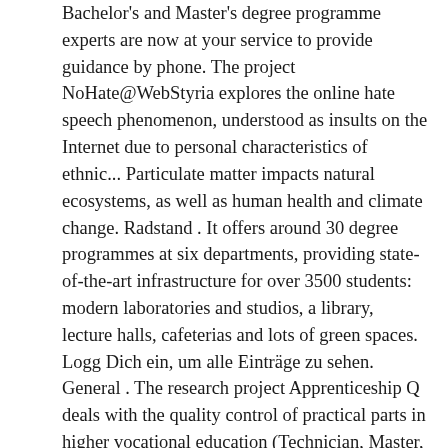Bachelor's and Master's degree programme experts are now at your service to provide guidance by phone. The project NoHate@WebStyria explores the online hate speech phenomenon, understood as insults on the Internet due to personal characteristics of ethnic... Particulate matter impacts natural ecosystems, as well as human health and climate change. Radstand . It offers around 30 degree programmes at six departments, providing state-of-the-art infrastructure for over 3500 students: modern laboratories and studios, a library, lecture halls, cafeterias and lots of green spaces. Logg Dich ein, um alle Einträge zu sehen. General . The research project Apprenticeship Q deals with the quality control of practical parts in higher vocational education (Technician, Master, Bachelor). öh joanneum, Graz, Austria. Hotels near FH Joanneum. No problem for Alexander Baumgartner. Das Institut Bauplaung und Bauwirtschaft an der FH JOANNEUM in Graz bietet … It is " [...] an emotional work up of a dying generation of Wehrmacht soldiers. Deals. Price. {{{item._highlightResult.excerpt.value}}}. ABOUT FH JOANNEUM ARCHITEKTUR . Filters. The aim of the research project is to investigate, how protein can be produced sustainably and efficiently along the entire food value chain in Austria, by... FH JOANNEUM, together with